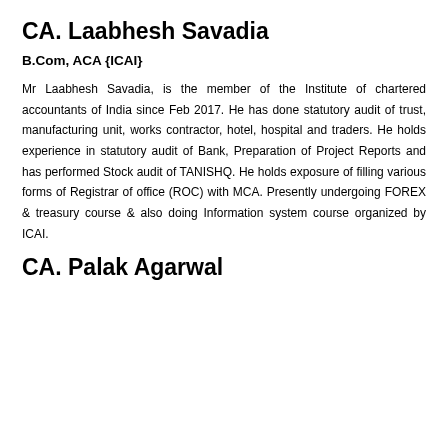CA. Laabhesh Savadia
B.Com, ACA {ICAI}
Mr Laabhesh Savadia, is the member of the Institute of chartered accountants of India since Feb 2017. He has done statutory audit of trust, manufacturing unit, works contractor, hotel, hospital and traders. He holds experience in statutory audit of Bank, Preparation of Project Reports and has performed Stock audit of TANISHQ. He holds exposure of filling various forms of Registrar of office (ROC) with MCA. Presently undergoing FOREX & treasury course & also doing Information system course organized by ICAI.
CA. Palak Agarwal